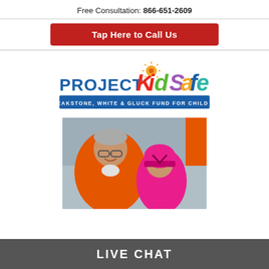Free Consultation: 866-651-2609
Tap Here to Call Us
[Figure (logo): Project KidSafe logo — The Breakstone, White & Gluck Fund for Child Safety]
[Figure (photo): Man in orange jacket smiling next to a young child wearing a pink bicycle helmet]
LIVE CHAT